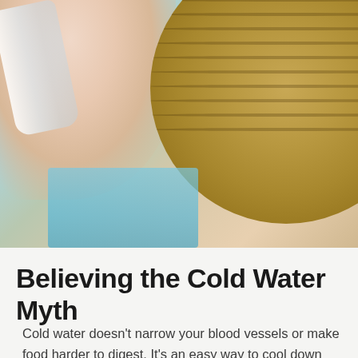[Figure (photo): Person drinking water from a plastic bottle while wearing a wide-brim sun hat, with a blue poolside background]
2/10 Believing the Cold Water Myth
Cold water doesn't narrow your blood vessels or make food harder to digest. It's an easy way to cool down and hydrate when you're hot. If you have a cold, warm water will help thin your mucus, but that's about it.